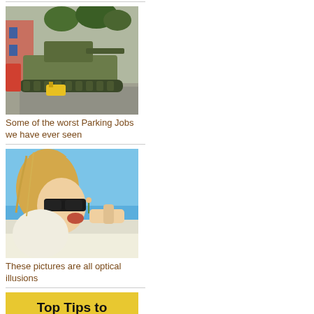[Figure (photo): A military tank on a street with a yellow wheel clamp/boot, with trees and buildings in background]
Some of the worst Parking Jobs we have ever seen
[Figure (photo): A blonde woman wearing sunglasses appearing to eat a tiny person in an optical illusion photo on a salt flat]
These pictures are all optical illusions
[Figure (illustration): Yellow background with text 'Top Tips to Increase the Value']